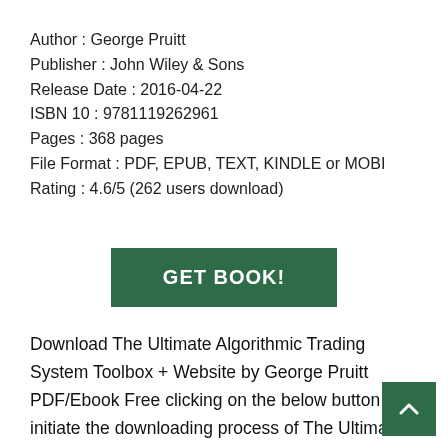Author : George Pruitt
Publisher : John Wiley & Sons
Release Date : 2016-04-22
ISBN 10 : 9781119262961
Pages : 368 pages
File Format : PDF, EPUB, TEXT, KINDLE or MOBI
Rating : 4.6/5 (262 users download)
[Figure (other): Green GET BOOK! button]
Download The Ultimate Algorithmic Trading System Toolbox + Website by George Pruitt PDF/Ebook Free clicking on the below button will initiate the downloading process of The Ultimate Algorithmic Trading System Toolbox + Website by George Pruitt. This book is ava in ePub and PDF format with a single click unlimited